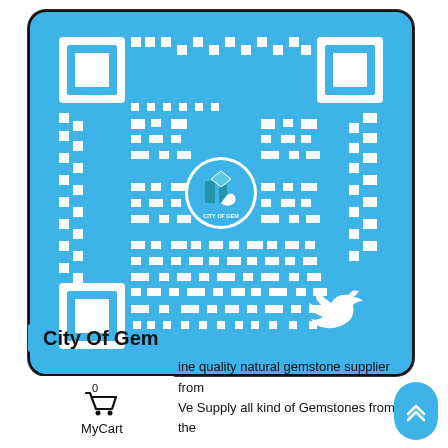[Figure (other): Blue QR code with City Of Gem logo in the center and Twitter bird icon in bottom right corner]
City Of Gem
fine quality natural gemstone supplier from We Supply all kind of Gemstones from the